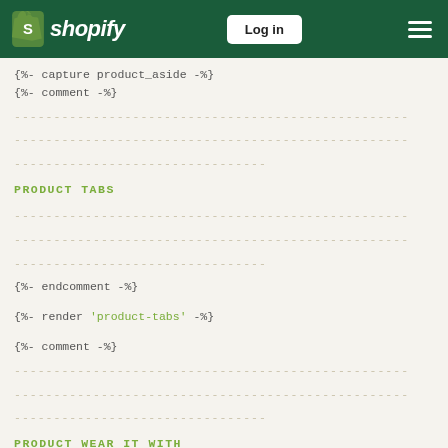[Figure (logo): Shopify logo with green bag icon and italic bold white text on dark green header bar, with Log in button and hamburger menu]
{%- capture product_aside -%}
{%- comment -%}
--- (dashed lines) ---
PRODUCT TABS
--- (dashed lines) ---
{%- endcomment -%}
{%- render 'product-tabs' -%}
{%- comment -%}
--- (dashed lines) ---
PRODUCT WEAR IT WITH